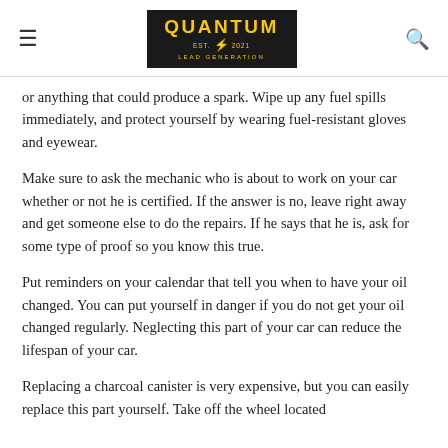QUANTUM LEAD GENERATION [logo]
or anything that could produce a spark. Wipe up any fuel spills immediately, and protect yourself by wearing fuel-resistant gloves and eyewear.
Make sure to ask the mechanic who is about to work on your car whether or not he is certified. If the answer is no, leave right away and get someone else to do the repairs. If he says that he is, ask for some type of proof so you know this true.
Put reminders on your calendar that tell you when to have your oil changed. You can put yourself in danger if you do not get your oil changed regularly. Neglecting this part of your car can reduce the lifespan of your car.
Replacing a charcoal canister is very expensive, but you can easily replace this part yourself. Take off the wheel located